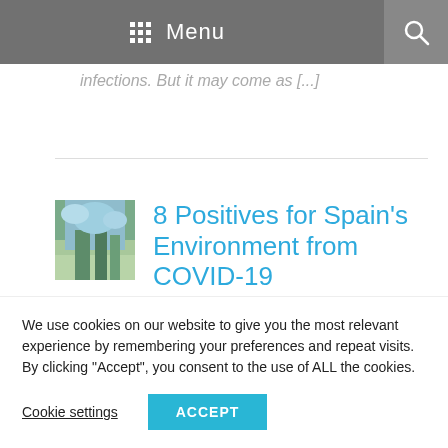Menu
infections. But it may come as [...]
8 Positives for Spain's Environment from COVID-19
Posted on Sunday 24 May 2020 by Tailormade Andalucia |
We use cookies on our website to give you the most relevant experience by remembering your preferences and repeat visits. By clicking “Accept”, you consent to the use of ALL the cookies.